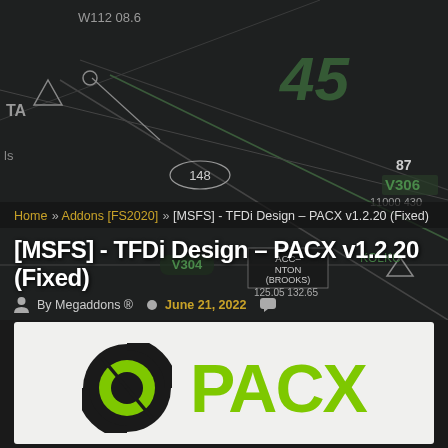[Figure (map): Aviation navigation map background showing airways, waypoints, altitude labels including W112 08.6, V304, V306, 148, 87, 11000, 430, 45, TA, KOLKO labels on dark grey background]
Home » Addons [FS2020] » [MSFS] - TFDi Design – PACX v1.2.20 (Fixed)
[MSFS] - TFDi Design – PACX v1.2.20 (Fixed)
By Megaddons ®  June 21, 2022
[Figure (logo): PACX logo with circular icon on left and green PACX text on right, on light grey/white background]